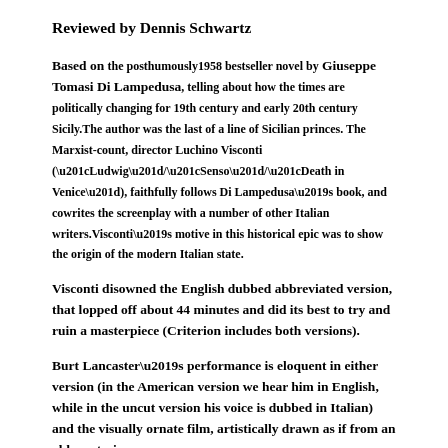Reviewed by Dennis Schwartz
Based on the posthumously1958 bestseller novel by Giuseppe Tomasi Di Lampedusa, telling about how the times are politically changing for 19th century and early 20th century Sicily.The author was the last of a line of Sicilian princes. The Marxist-count, director Luchino Visconti (“Ludwig”/“Senso”/“Death in Venice”), faithfully follows Di Lampedusa’s book, and cowrites the screenplay with a number of other Italian writers.Visconti’s motive in this historical epic was to show the origin of the modern Italian state.
Visconti disowned the English dubbed abbreviated version, that lopped off about 44 minutes and did its best to try and ruin a masterpiece (Criterion includes both versions).
Burt Lancaster’s performance is eloquent in either version (in the American version we hear him in English, while in the uncut version his voice is dubbed in Italian) and the visually ornate film, artistically drawn as if from an old masterie…